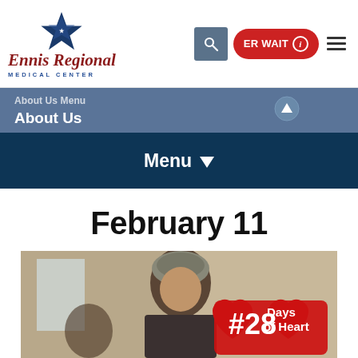[Figure (logo): Ennis Regional Medical Center logo with blue star icon, red serif text 'Ennis Regional' and blue spaced caps 'MEDICAL CENTER']
[Figure (screenshot): Navigation header with search icon button (grey square), red rounded ER WAIT button with info circle, and hamburger menu icon]
About Us Menu  About Us
Menu
February 11
[Figure (photo): Photo of a man and a red badge showing '#28 Days of Heart' partially visible at the bottom of the page]